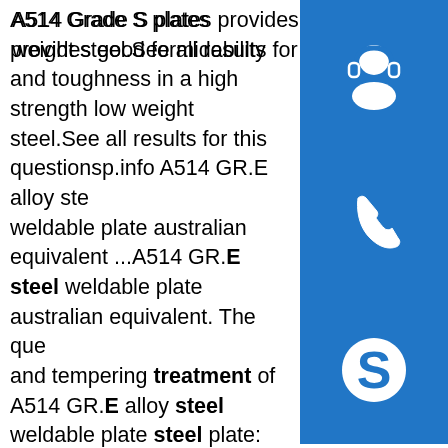A514 Grade S plates provides good formidability and toughness in a high strength low weight steel.See all results for this questionsp.info A514 GR.E alloy steel weldable plate australian equivalent ...A514 GR.E steel weldable plate australian equivalent. The quenching and tempering treatment of A514 GR.E alloy steel weldable plate steel plate: after quenching, the heat treatment method of high temperature tempering is quenching and tempering treatment.High temperature tempering refers to tempering between 500°C and 650°C.The properties and materials of steel can be ...sp.info 12mm thick A514 Grade E marine steel - ASTM A514 Carbon …12mm thick A514 Grade E marine steel. India's Ministry of A514 Grade E marine steel steel has extended the deadline for steel product certification from April 23 to three months as the Bureau of standards (BIS) has closed factories and laboratories due to the current blockade and travel ban.sp.info ASTM A514 / T1 Steel Plates, Grade B, E, F, H, Q, S ...
[Figure (illustration): Blue sidebar icons: headset/support icon, phone icon, and Skype icon stacked vertically]